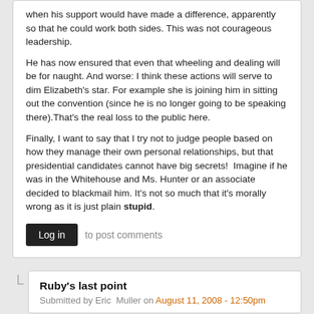when his support would have made a difference, apparently so that he could work both sides. This was not courageous leadership.
He has now ensured that even that wheeling and dealing will be for naught. And worse: I think these actions will serve to dim Elizabeth's star. For example she is joining him in sitting out the convention (since he is no longer going to be speaking there).That's the real loss to the public here.
Finally, I want to say that I try not to judge people based on how they manage their own personal relationships, but that presidential candidates cannot have big secrets!  Imagine if he was in the Whitehouse and Ms. Hunter or an associate decided to blackmail him. It's not so much that it's morally wrong as it is just plain stupid.
Log in to post comments
Ruby's last point
Submitted by Eric  Muller on August 11, 2008 - 12:50pm